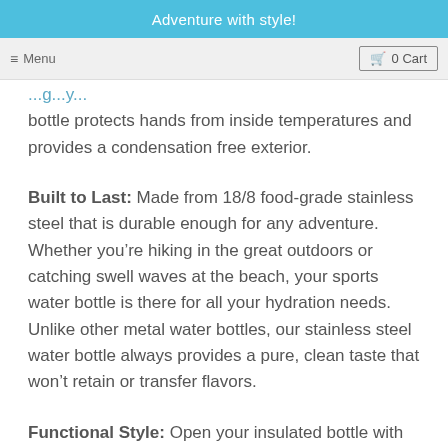Adventure with style!
≡ Menu   🛒 0 Cart
bottle protects hands from inside temperatures and provides a condensation free exterior.
Built to Last: Made from 18/8 food-grade stainless steel that is durable enough for any adventure. Whether you're hiking in the great outdoors or catching swell waves at the beach, your sports water bottle is there for all your hydration needs. Unlike other metal water bottles, our stainless steel water bottle always provides a pure, clean taste that won't retain or transfer flavors.
Functional Style: Open your insulated bottle with the simple push of a button. The bottle has a protective lid